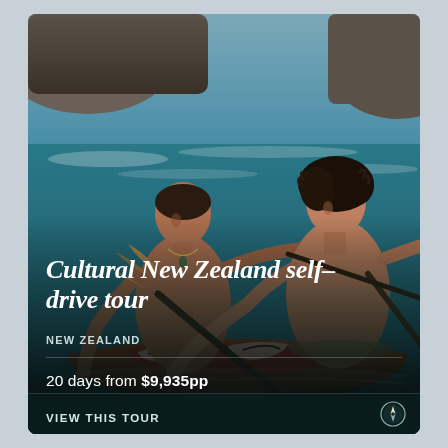[Figure (photo): Two Maori men paddling a traditional carved waka (canoe) with decorative red and black patterns, on the ocean with rocky cliffs in the background]
Cultural New Zealand self–drive tour
NEW ZEALAND
20 days from $9,935pp
VIEW THIS TOUR